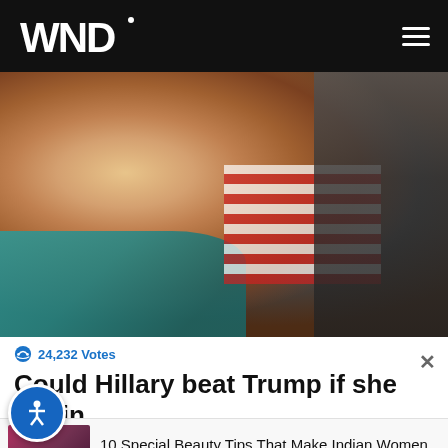WND
[Figure (photo): Close-up photo of Hillary Clinton in a teal jacket, looking to the side, with an American flag and crowd visible in the background]
24,232 Votes
Could Hillary beat Trump if she ran in 2020?
Advertisement
[Figure (photo): Advertisement photo of an Indian woman]
10 Special Beauty Tips That Make Indian Women So Beautiful